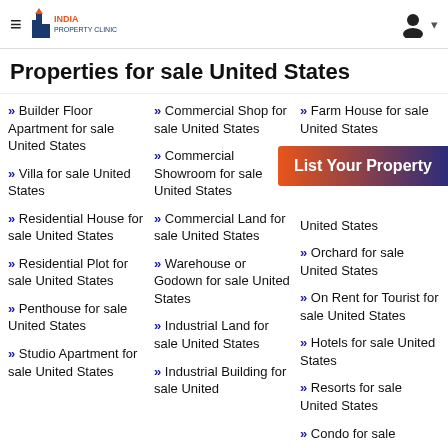India Property Clinic
Properties for sale United States
Builder Floor Apartment for sale United States
Villa for sale United States
Residential House for sale United States
Residential Plot for sale United States
Penthouse for sale United States
Studio Apartment for sale United States
Commercial Shop for sale United States
Commercial Showroom for sale United States
Commercial Land for sale United States
Warehouse or Godown for sale United States
Industrial Land for sale United States
Industrial Building for sale United
Farm House for sale United States
Multistorey ... United States
Orchard for sale United States
On Rent for Tourist for sale United States
Hotels for sale United States
Resorts for sale United States
Condo for sale